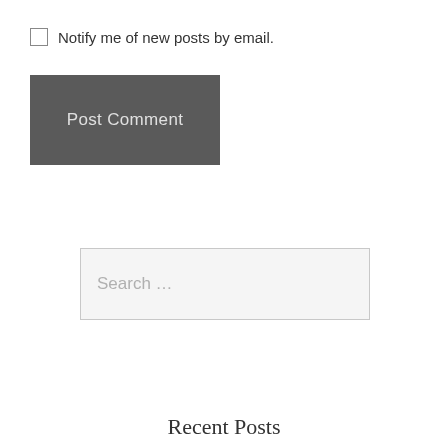Notify me of new posts by email.
Post Comment
Search ...
Recent Posts